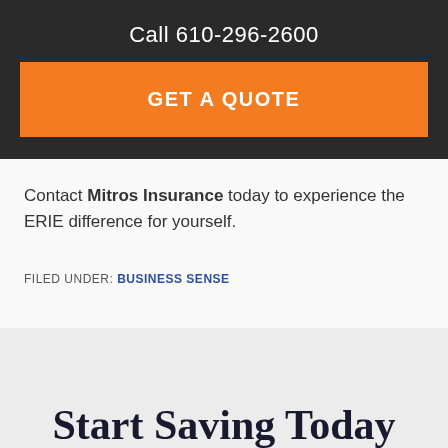Call 610-296-2600
GET A QUOTE
Contact Mitros Insurance today to experience the ERIE difference for yourself.
FILED UNDER: BUSINESS SENSE
Start Saving Today